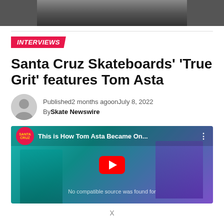[Figure (photo): Top portion of a photo showing a person standing, cropped at torso level]
INTERVIEWS
Santa Cruz Skateboards’ ‘True Grit’ features Tom Asta
Published2 months agoonJuly 8, 2022
By Skate Newswire
[Figure (screenshot): YouTube video thumbnail showing Santa Cruz logo, title 'This is How Tom Asta Became On...' with two people visible and a YouTube play button. Text overlay: 'No compatible source was found for']
x